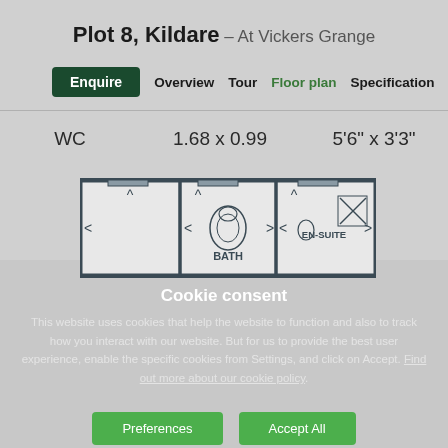Plot 8, Kildare – At Vickers Grange
Enquire | Overview | Tour | Floor plan | Specification
WC    1.68 x 0.99    5'6" x 3'3"
[Figure (engineering-diagram): Floor plan showing BATH and EN-SUITE rooms with fixtures including toilet, sink, and bathtub layouts in architectural top-down view]
Cookie consent
This website uses cookies that help the website to function and also to track how you interact with our website. But for us to provide the best user experience, enable the specific cookies from Settings, and click on Accept. Find out more about our cookie policy